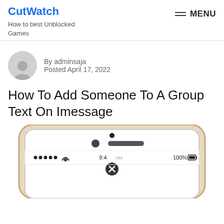CutWatch — How to best Unblocked Games
By adminsaja
Posted April 17, 2022
How To Add Someone To A Group Text On Imessage
[Figure (photo): Top portion of an iPhone showing the front face with camera, speaker, and the top of the iMessage screen with status bar showing signal dots, WiFi, 9:40 AM time, and 100% battery]